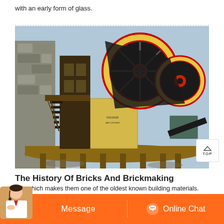with an early form of glass.
[Figure (photo): Industrial jaw crusher machine on a raised wooden platform with large flywheels and belt drive, set against a stone wall background.]
The History Of Bricks And Brickmaking
BC, which makes them one of the oldest known building materials.